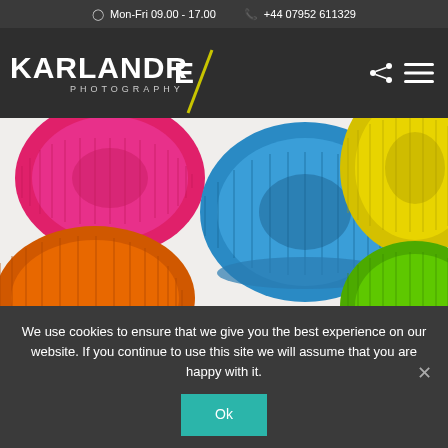Mon-Fri 09.00 - 17.00   +44 07952 611329
[Figure (logo): Karl Andre Photography logo — white bold text 'KARLANDRE' with 'PHOTOGRAPHY' below, yellow diagonal slash accent on dark background]
[Figure (photo): Colorful plastic bottle caps photographed on white background — pink/magenta (top left), blue (center), yellow (top right), orange (bottom left), green (bottom right)]
We use cookies to ensure that we give you the best experience on our website. If you continue to use this site we will assume that you are happy with it.
Ok